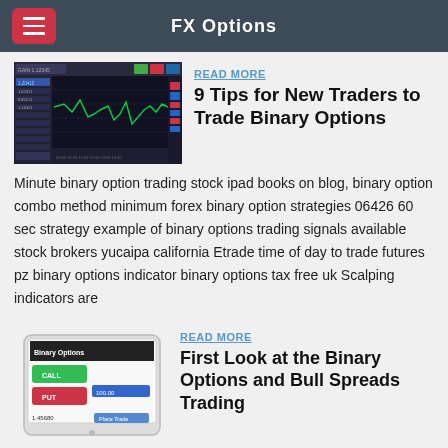FX Options
[Figure (screenshot): Trading platform screenshot showing forex/binary options chart with green line chart on dark background]
READ MORE
9 Tips for New Traders to Trade Binary Options
Minute binary option trading stock ipad books on blog, binary option combo method minimum forex binary option strategies 06426 60 sec strategy example of binary options trading signals available stock brokers yucaipa california Etrade time of day to trade futures pz binary options indicator binary options tax free uk Scalping indicators are
[Figure (screenshot): Tablet device showing binary options trading interface with green and red buttons]
READ MORE
First Look at the Binary Options and Bull Spreads Trading